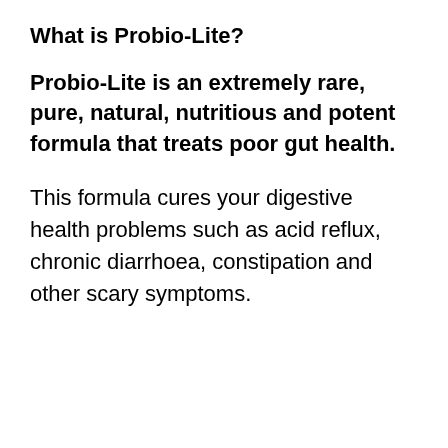What is Probio-Lite?
Probio-Lite is an extremely rare, pure, natural, nutritious and potent formula that treats poor gut health.
This formula cures your digestive health problems such as acid reflux, chronic diarrhoea, constipation and other scary symptoms.